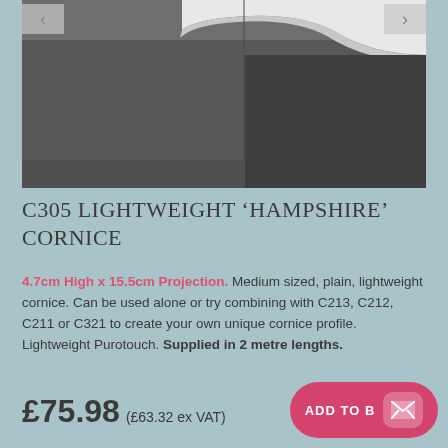[Figure (photo): Photo of white cornice moulding installed at the ceiling-wall junction in a room with dark grey walls.]
C305 LIGHTWEIGHT ‘HAMPSHIRE’ CORNICE
4.7cm High x 15.5cm Projection. Medium sized, plain, lightweight cornice. Can be used alone or try combining with C213, C212, C211 or C321 to create your own unique cornice profile. Lightweight Purotouch. Supplied in 2 metre lengths.
£75.98 (£63.32 ex VAT)
ADD TO B